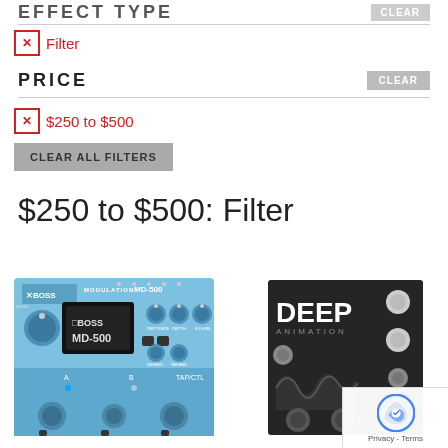EFFECT TYPE
Filter
PRICE
$250 to $500
CLEAR ALL FILTERS
$250 to $500: Filter
[Figure (photo): BOSS MD-500 Modulation pedal in light blue color with multiple knobs and display screen]
[Figure (photo): Deep Animation guitar effect pedal in dark/black color]